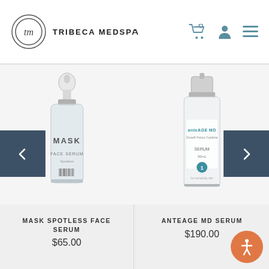TRIBECA MEDSPA
[Figure (photo): MASK Spotless Face Serum product photo - clear dropper bottle with silver cap]
[Figure (photo): AnteAGE MD Serum product photo - white bottle with silver cap]
MASK SPOTLESS FACE SERUM
$65.00
ANTEAGE MD SERUM
$190.00